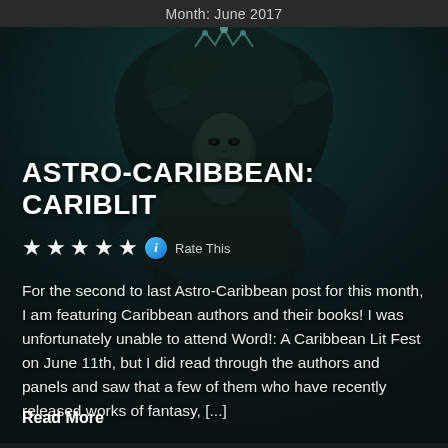Month: June 2017
[Figure (illustration): Dark fantasy illustration of a mystical female figure with large afro hair and decorative headdress against a dark teal/green background, used as article header image]
ASTRO-CARIBBEAN: CARIBLIT
★★★★★ ℹ Rate This
For the second to last Astro-Caribbean post for this month, I am featuring Caribbean authors and their books! I was unfortunately unable to attend Word!: A Caribbean Lit Fest on June 11th, but I did read through the authors and panels and saw that a few of them who have recently released works of fantasy, [...]
Read More